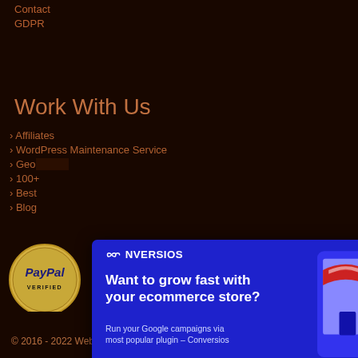Contact
GDPR
Work With Us
Affiliates
WordPress Maintenance Service
Geo...
100+...
Best...
Blog
[Figure (screenshot): Conversios popup modal on dark background. Contains logo 'CONVERSIOS', headline 'Want to grow fast with your ecommerce store?', subtext 'Run your Google campaigns via most popular plugin – Conversios', a button 'I am in »', close button X, and illustration of woman with shopping cart next to a storefront.]
[Figure (logo): PayPal Verified badge (gold circular seal)]
[Figure (logo): Payment logos: MasterCard, VISA, American Express, Discover]
© 2016 - 2022 Web Factory Ltd. Made with ♥